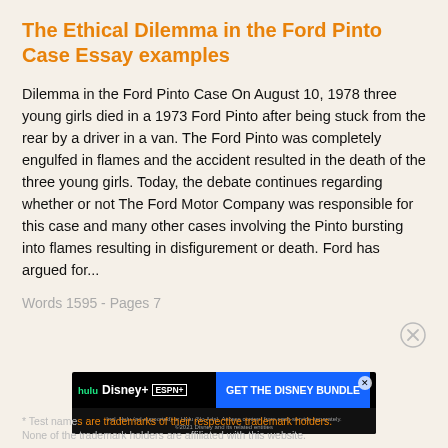The Ethical Dilemma in the Ford Pinto Case Essay examples
Dilemma in the Ford Pinto Case On August 10, 1978 three young girls died in a 1973 Ford Pinto after being stuck from the rear by a driver in a van. The Ford Pinto was completely engulfed in flames and the accident resulted in the death of the three young girls. Today, the debate continues regarding whether or not The Ford Motor Company was responsible for this case and many other cases involving the Pinto bursting into flames resulting in disfigurement or death. Ford has argued for...
Words 1595 - Pages 7
[Figure (other): Advertisement banner for Disney Bundle (Hulu, Disney+, ESPN+) with blue 'GET THE DISNEY BUNDLE' call-to-action button on black background]
* Test names are trademarks of their respective trademark holders. None of the trademark holders are affiliated with this website.